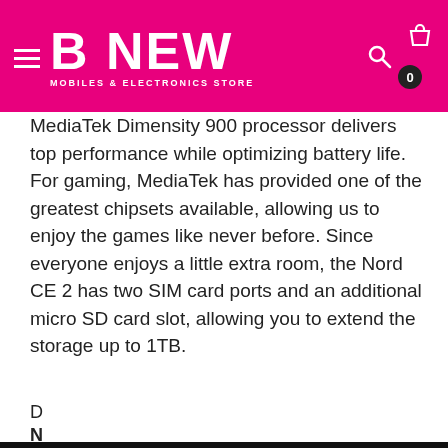[Figure (screenshot): B NEW Mobiles & Electronics Store website header with hot pink background, hamburger menu, logo 'B NEW MOBILES & ELECTRONICS STORE', search icon, bag icon, and cart count badge showing 0.]
MediaTek Dimensity 900 processor delivers top performance while optimizing battery life. For gaming, MediaTek has provided one of the greatest chipsets available, allowing us to enjoy the games like never before. Since everyone enjoys a little extra room, the Nord CE 2 has two SIM card ports and an additional micro SD card slot, allowing you to extend the storage up to 1TB.
D
N
ca
Sa
w
N
This website uses cookies to ensure you get the best experience on our website.
Learn more
Got it!